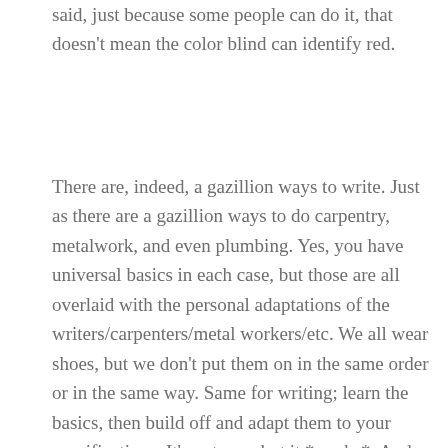said, just because some people can do it, that doesn't mean the color blind can identify red.
There are, indeed, a gazillion ways to write. Just as there are a gazillion ways to do carpentry, metalwork, and even plumbing. Yes, you have universal basics in each case, but those are all overlaid with the personal adaptations of the writers/carpenters/metal workers/etc. We all wear shoes, but we don't put them on in the same order or in the same way. Same for writing; learn the basics, then build off and adapt them to your specifications. It's not easy but it *works*. And that's what matters, in the end.